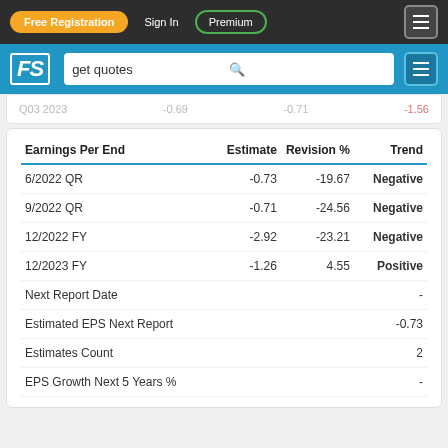Free Registration  Sign In  Premium
| Earnings Per End | Estimate | Revision % | Trend |
| --- | --- | --- | --- |
| 6/2022 QR | -0.73 | -19.67 | Negative |
| 9/2022 QR | -0.71 | -24.56 | Negative |
| 12/2022 FY | -2.92 | -23.21 | Negative |
| 12/2023 FY | -1.26 | 4.55 | Positive |
| Next Report Date |  |  | - |
| Estimated EPS Next Report |  |  | -0.73 |
| Estimates Count |  |  | 2 |
| EPS Growth Next 5 Years % |  |  | - |